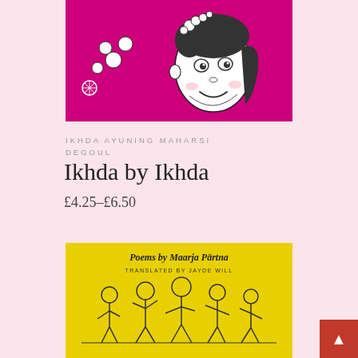[Figure (illustration): Book cover illustration on magenta/pink background showing a smiling girl with flowers in her hair, line-art style with white daisy flowers]
IKHDA AYUNING MAHARSI DEGOUL
Ikhda by Ikhda
£4.25–£6.50
[Figure (illustration): Book cover with yellow background showing 'Poems by Maarja Pärtna, Translated by Jayde Will' with black ink illustration of figures]